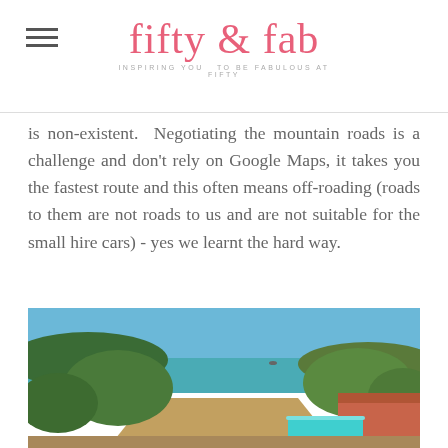fifty & fab — inspiring you to be fabulous at fifty
is non-existent.  Negotiating the mountain roads is a challenge and don't rely on Google Maps, it takes you the fastest route and this often means off-roading (roads to them are not roads to us and are not suitable for the small hire cars) - yes we learnt the hard way.
[Figure (photo): Scenic coastal view from hillside with olive trees, turquoise sea, and hotel pool visible in foreground with terracotta roof tiles]